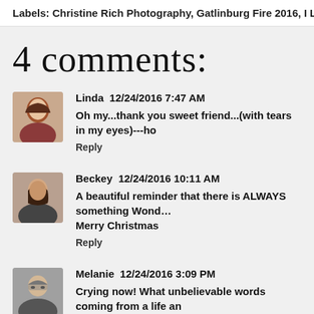Labels: Christine Rich Photography, Gatlinburg Fire 2016, I L♥VE JE…
4 comments:
Linda  12/24/2016 7:47 AM
Oh my...thank you sweet friend...(with tears in my eyes)---ho…
Reply
Beckey  12/24/2016 10:11 AM
A beautiful reminder that there is ALWAYS something Wond… Merry Christmas
Reply
Melanie  12/24/2016 3:09 PM
Crying now! What unbelievable words coming from a life an…
Reply